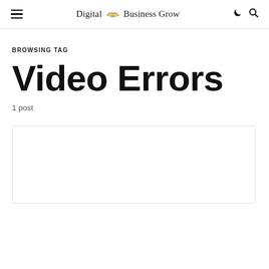Digital Business Grow
BROWSING TAG
Video Errors
1 post
[Figure (other): Empty card/article preview box with light gray border]